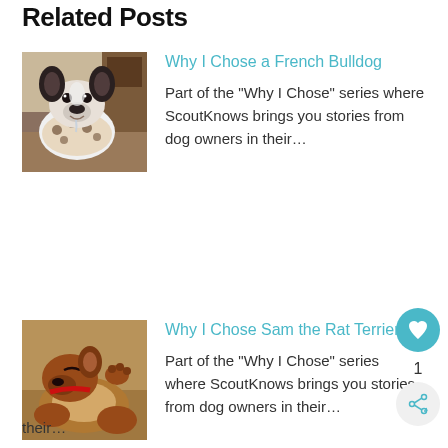Related Posts
[Figure (photo): A French Bulldog wearing a leopard print outfit, looking upward with big ears visible, indoors]
Why I Chose a French Bulldog
Part of the "Why I Chose" series where ScoutKnows brings you stories from dog owners in their…
[Figure (photo): A brown dog with a red collar lying on its back, showing its belly, looking playful]
Why I Chose Sam the Rat Terrier
Part of the "Why I Chose" series where ScoutKnows brings you stories from dog owners in their…